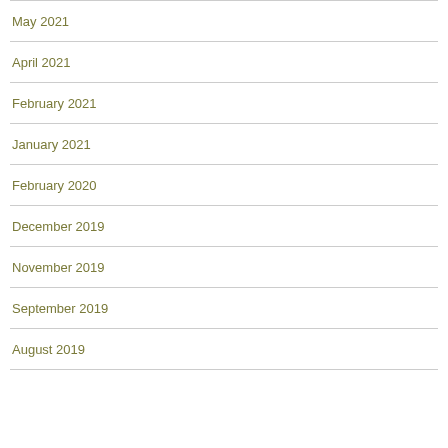May 2021
April 2021
February 2021
January 2021
February 2020
December 2019
November 2019
September 2019
August 2019